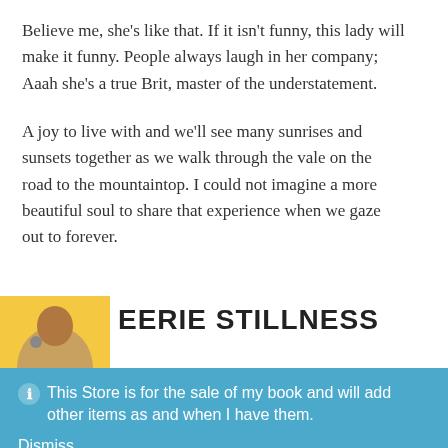Believe me, she’s like that. If it isn’t funny, this lady will make it funny. People always laugh in her company; Aaah she’s a true Brit, master of the understatement.
A joy to live with and we’ll see many sunrises and sunsets together as we walk through the vale on the road to the mountaintop. I could not imagine a more beautiful soul to share that experience when we gaze out to forever.
[Figure (other): Partial book cover with yellow background and figure silhouette]
EERIE STILLNESS
ⓘ  This Store is for the sale of my book and will add other items as and when I have them.
Dismiss